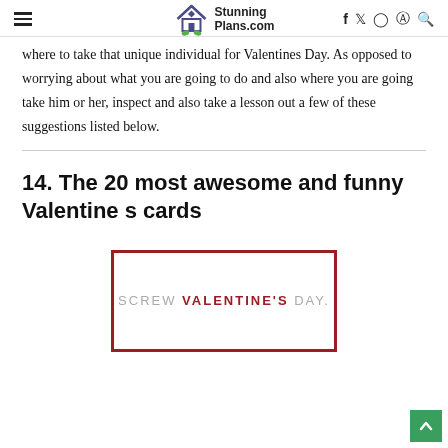StunningPlans.com — navigation header with logo, hamburger menu, and social icons (f, twitter, instagram, pinterest, search)
where to take that unique individual for Valentines Day. As opposed to worrying about what you are going to do and also where you are going take him or her, inspect and also take a lesson out a few of these suggestions listed below.
14. The 20 most awesome and funny Valentine s cards
[Figure (photo): Valentine's Day card with red border showing text 'SCREW VALENTINE'S DAY.' in mixed gray and red letters on white background]